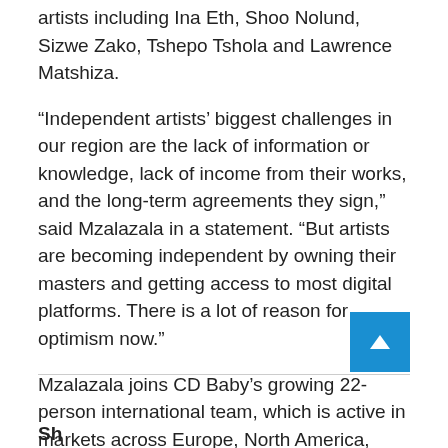artists including Ina Eth, Shoo Nolund, Sizwe Zako, Tshepo Tshola and Lawrence Matshiza.
“Independent artists’ biggest challenges in our region are the lack of information or knowledge, lack of income from their works, and the long-term agreements they sign,” said Mzalazala in a statement. “But artists are becoming independent by owning their masters and getting access to most digital platforms. There is a lot of reason for optimism now.”
Mzalazala joins CD Baby’s growing 22-person international team, which is active in markets across Europe, North America, South America, East Asia and South Asia.